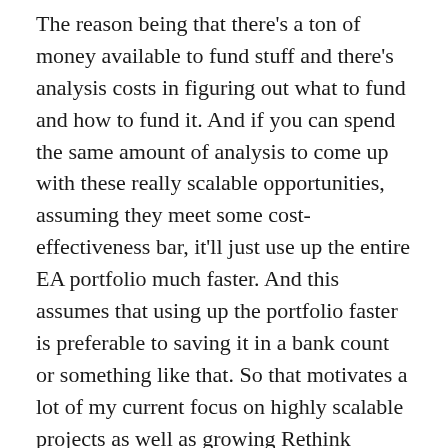The reason being that there's a ton of money available to fund stuff and there's analysis costs in figuring out what to fund and how to fund it. And if you can spend the same amount of analysis to come up with these really scalable opportunities, assuming they meet some cost-effectiveness bar, it'll just use up the entire EA portfolio much faster. And this assumes that using up the portfolio faster is preferable to saving it in a bank count or something like that. So that motivates a lot of my current focus on highly scalable projects as well as growing Rethink Priorities as quickly as is feasible."
“Another important aspect is, things other than money that projects might take up, such as highly talented people that are in short supply or something. So a highly scalable project might also